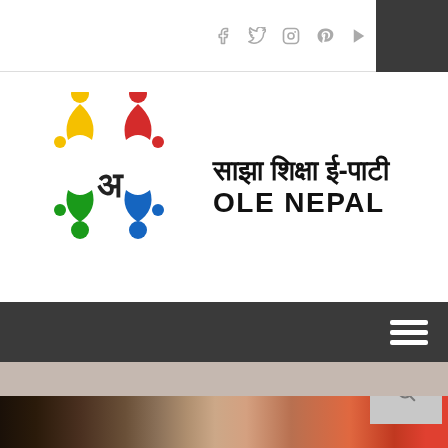OLE Nepal website header with social media icons (Facebook, Twitter, Instagram, Pinterest, YouTube)
[Figure (logo): OLE Nepal logo: four stylized human figures in yellow, red, green, blue arranged in a circle with Devanagari letter in center, next to text in Nepali and English]
साझा शिक्षा ई-पाटी OLE NEPAL
[Figure (screenshot): Navigation bar with hamburger menu icon on dark background]
[Figure (photo): Gray banner area followed by photo of group of students/children in classroom setting]